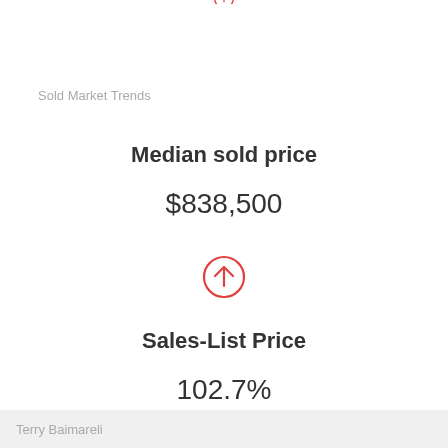[Figure (other): Red circle with upward arrow icon at top of page (partially cropped)]
Sold Market Trends
Median sold price
$838,500
[Figure (other): Red circle with upward arrow icon indicating increase]
Sales-List Price
102.7%
[Figure (other): Green circle with downward arrow icon (partially cropped at bottom)]
Terry Baimareli